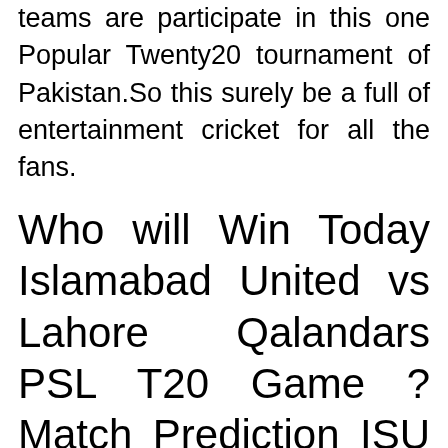teams are participate in this one Popular Twenty20 tournament of Pakistan.So this surely be a full of entertainment cricket for all the fans.
Who will Win Today Islamabad United vs Lahore Qalandars PSL T20 Game ? Match Prediction ISU vs IHQ
As per our prediction for today's First Game of PSL 2019 Islamabad United franchise have 64 percent winning chances over to franchise of the Forth